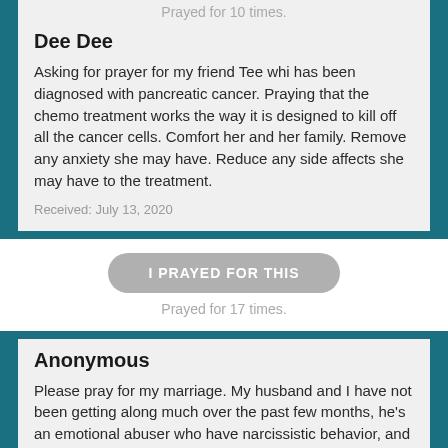Prayed for 10 times.
Dee Dee
Asking for prayer for my friend Tee whi has been diagnosed with pancreatic cancer. Praying that the chemo treatment works the way it is designed to kill off all the cancer cells. Comfort her and her family. Remove any anxiety she may have. Reduce any side affects she may have to the treatment.
Received: July 13, 2020
I PRAYED FOR THIS
Prayed for 17 times.
Anonymous
Please pray for my marriage. My husband and I have not been getting along much over the past few months, he's an emotional abuser who have narcissistic behavior, and I need to learn how to bridle my tongue so that God can truly do the work in both of us without us getting in His way. I'm praying that God will help us both to humble ourselves to His will and word, so we may walk in love as one in Christ Jesus. Thanks for your prayers.